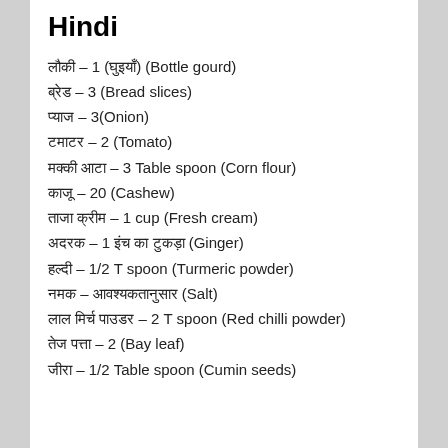Hindi
लौकी – 1 (घुइयाँ) (Bottle gourd)
ब्रेड – 3 (Bread slices)
प्याज – 3(Onion)
टमाटर – 2 (Tomato)
मक्की आटा – 3 Table spoon (Corn flour)
काजू – 20 (Cashew)
ताजा क्रीम – 1 cup (Fresh cream)
अदरक – 1 इंच का टुकड़ा (Ginger)
हल्दी – 1/2 T spoon (Turmeric powder)
नमक – आवश्यकतानुसार (Salt)
लाल मिर्च पाउडर – 2 T spoon (Red chilli powder)
तेज पत्ता – 2 (Bay leaf)
जीरा – 1/2 Table spoon (Cumin seeds)